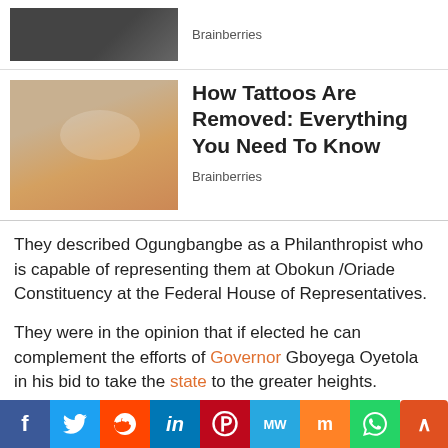[Figure (photo): Partial photo of a person at the top of the page]
Brainberries
[Figure (photo): Photo of tattoo removal procedure showing laser device on skin]
How Tattoos Are Removed: Everything You Need To Know
Brainberries
They described Ogungbangbe as a Philanthropist who is capable of representing them at Obokun /Oriade Constituency at the Federal House of Representatives.
They were in the opinion that if elected he can complement the efforts of Governor Gboyega Oyetola in his bid to take the state to the greater heights.
The group in a statement signed by its Coordinator of
f  Twitter  Reddit  in  Pinterest  MW  Mix  WhatsApp  ^